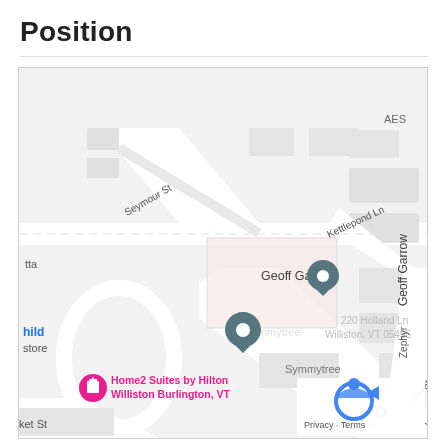Position
[Figure (map): Google Maps screenshot showing Symmytree location at 220 Holland Ln, Williston, VT 05495. Map shows street layout with Seymour St, Kettlepond Ln, Zephyr St, Stillwater Ln, and nearby landmarks including Geoff Garrow, Home2 Suites by Hilton Williston Burlington VT. Two map pins visible: one labeled Geoff Garrow and one labeled Symmytree. Google privacy/terms overlay in bottom right corner.]